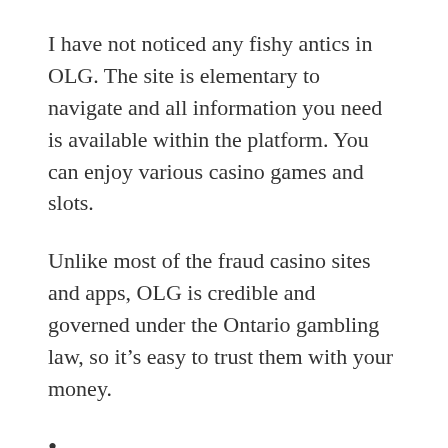I have not noticed any fishy antics in OLG. The site is elementary to navigate and all information you need is available within the platform. You can enjoy various casino games and slots.
Unlike most of the fraud casino sites and apps, OLG is credible and governed under the Ontario gambling law, so it's easy to trust them with your money.
•
I have lost every bankroll I have ever deposited in my OLG account, something I cannot say for other platforms I use. The system seems to have a very aggressive profit strategy that makes winning anything from OLG a nightmare. When it looks like you have a winning streak, the losing begins. I think I will quit the platform altogether.